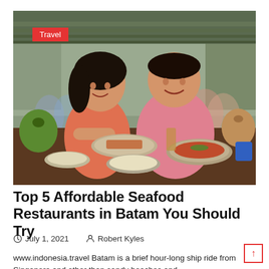[Figure (photo): Two people (a woman in a coral top and a man in a pink t-shirt) sitting at a table in an open-air seafood restaurant, smiling at each other. The table is filled with many dishes of seafood and other food. There is a green coconut drink on the left and other beverages. The restaurant has a corrugated metal roof and open sides. Other diners are visible in the background.]
Top 5 Affordable Seafood Restaurants in Batam You Should Try
July 1, 2021   Robert Kyles
www.indonesia.travel Batam is a brief hour-long ship ride from Singapore and other than sandy beaches and